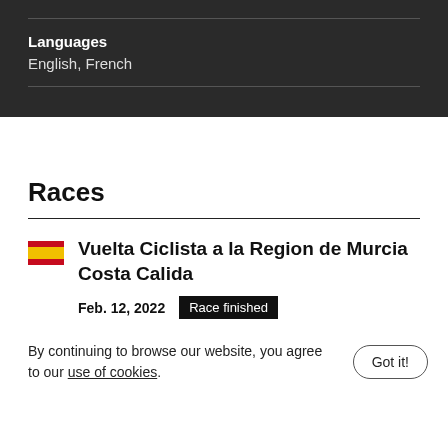Languages
English, French
Races
Vuelta Ciclista a la Region de Murcia Costa Calida
Feb. 12, 2022   Race finished
By continuing to browse our website, you agree to our use of cookies.